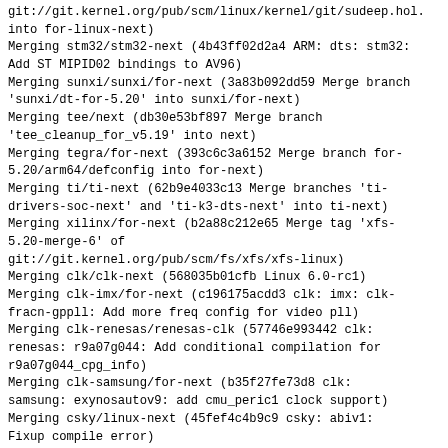git://git.kernel.org/pub/scm/linux/kernel/git/sudeep.hol.into for-linux-next)
Merging stm32/stm32-next (4b43ff02d2a4 ARM: dts: stm32: Add ST MIPID02 bindings to AV96)
Merging sunxi/sunxi/for-next (3a83b092dd59 Merge branch 'sunxi/dt-for-5.20' into sunxi/for-next)
Merging tee/next (db30e53bf897 Merge branch 'tee_cleanup_for_v5.19' into next)
Merging tegra/for-next (393c6c3a6152 Merge branch for-5.20/arm64/defconfig into for-next)
Merging ti/ti-next (62b9e4033c13 Merge branches 'ti-drivers-soc-next' and 'ti-k3-dts-next' into ti-next)
Merging xilinx/for-next (b2a88c212e65 Merge tag 'xfs-5.20-merge-6' of git://git.kernel.org/pub/scm/fs/xfs/xfs-linux)
Merging clk/clk-next (568035b01cfb Linux 6.0-rc1)
Merging clk-imx/for-next (c196175acdd3 clk: imx: clk-fracn-gppll: Add more freq config for video pll)
Merging clk-renesas/renesas-clk (57746e993442 clk: renesas: r9a07g044: Add conditional compilation for r9a07g044_cpg_info)
Merging clk-samsung/for-next (b35f27fe73d8 clk: samsung: exynosautov9: add cmu_peric1 clock support)
Merging csky/linux-next (45fef4c4b9c9 csky: abiv1: Fixup compile error)
Merging loongarch/loongarch-next (568035b01cfb Linux 6.0-rc1)
Merging m68k/for-next (1afdc013672b m68k: Move from strlcpy with unused retval to strscpy)
Merging m68knommu/for-next (1c23f9e627a7 Linux 6.0-rc2)